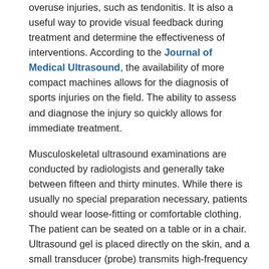overuse injuries, such as tendonitis. It is also a useful way to provide visual feedback during treatment and determine the effectiveness of interventions. According to the Journal of Medical Ultrasound, the availability of more compact machines allows for the diagnosis of sports injuries on the field. The ability to assess and diagnose the injury so quickly allows for immediate treatment.
Musculoskeletal ultrasound examinations are conducted by radiologists and generally take between fifteen and thirty minutes. While there is usually no special preparation necessary, patients should wear loose-fitting or comfortable clothing. The patient can be seated on a table or in a chair. Ultrasound gel is placed directly on the skin, and a small transducer (probe) transmits high-frequency sound waves through the gel into the body. When the sound bounces back, or echoes, off denser surfaces, it creates an image, or sonogram, that appears on a computer screen. Patients may be asked to move the affected area so it can be better evaluated. Although the procedure itself is not painful, patients may feel some discomfort or minor